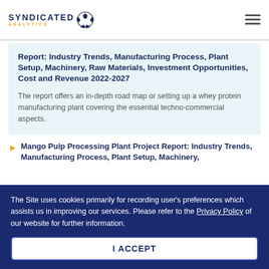SYNDICATED ANALYTICS
Report: Industry Trends, Manufacturing Process, Plant Setup, Machinery, Raw Materials, Investment Opportunities, Cost and Revenue 2022-2027
The report offers an in-depth road map or setting up a whey protein manufacturing plant covering the essential techno-commercial aspects.
Mango Pulp Processing Plant Project Report: Industry Trends, Manufacturing Process, Plant Setup, Machinery,
The Site uses cookies primarily for recording user's preferences which assists us in improving our services. Please refer to the Privacy Policy of our website for further information.
I ACCEPT